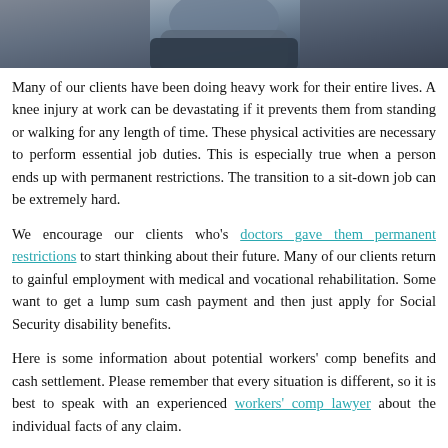[Figure (photo): Photo of a person in dark clothing, cropped to show upper body/shoulder area against a dark background.]
Many of our clients have been doing heavy work for their entire lives. A knee injury at work can be devastating if it prevents them from standing or walking for any length of time. These physical activities are necessary to perform essential job duties. This is especially true when a person ends up with permanent restrictions. The transition to a sit-down job can be extremely hard.
We encourage our clients who's doctors gave them permanent restrictions to start thinking about their future. Many of our clients return to gainful employment with medical and vocational rehabilitation. Some want to get a lump sum cash payment and then just apply for Social Security disability benefits.
Here is some information about potential workers' comp benefits and cash settlement. Please remember that every situation is different, so it is best to speak with an experienced workers' comp lawyer about the individual facts of any claim.
How much compensation for a knee injury at work?
Workers' comp protects employees hurt on-the-job. Benefits include lost wages, medical, and vocational rehabilitation. The